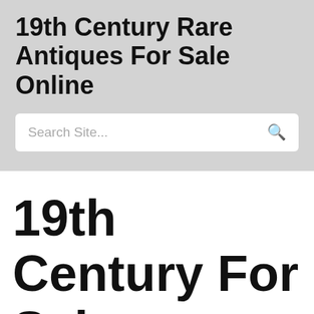19th Century Rare Antiques For Sale Online
Search Site...
19th Century For Sale